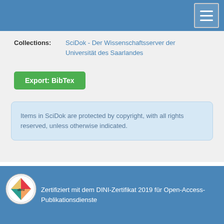Collections: SciDok - Der Wissenschaftsserver der Universität des Saarlandes
Export: BibTex
Items in SciDok are protected by copyright, with all rights reserved, unless otherwise indicated.
Zertifiziert mit dem DINI-Zertifikat 2019 für Open-Access-Publikationsdienste